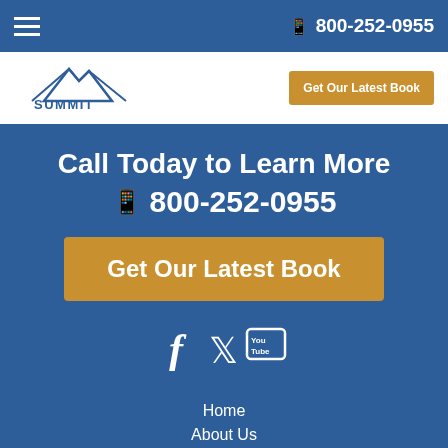☎ 800-252-0955
[Figure (logo): Summit Practice Solutions logo with mountain graphic]
Get Our Latest Book
Call Today to Learn More ☎ 800-252-0955
Get Our Latest Book
[Figure (illustration): Social media icons: Facebook, Twitter, YouTube]
Home
About Us
Our Approach
Client Testimonials